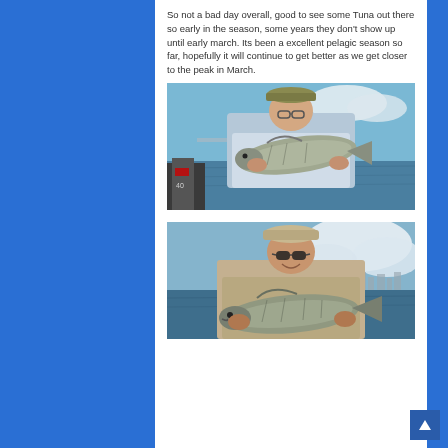So not a bad day overall, good to see some Tuna out there so early in the season, some years they don't show up until early march.  Its been a excellent pelagic season so far, hopefully it will continue to get better as we get closer to the peak in March.
[Figure (photo): Man in a hat and glasses holding a large tuna fish on a boat, with water and a bridge in the background. A boat motor is visible on the left.]
[Figure (photo): Older man wearing sunglasses and a hat, holding a large tuna fish, with a city skyline and clouds visible in the background.]